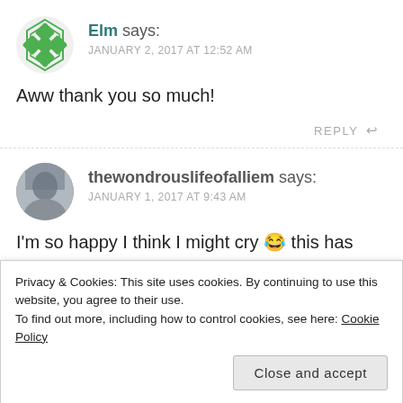[Figure (illustration): Green geometric avatar icon for user Elm]
Elm says: JANUARY 2, 2017 AT 12:52 AM
Aww thank you so much!
REPLY
[Figure (photo): Circular profile photo of user thewondrouslifeofalliem]
thewondrouslifeofalliem says: JANUARY 1, 2017 AT 9:43 AM
I'm so happy I think I might cry 😂 this has made my
Privacy & Cookies: This site uses cookies. By continuing to use this website, you agree to their use.
To find out more, including how to control cookies, see here: Cookie Policy
Close and accept